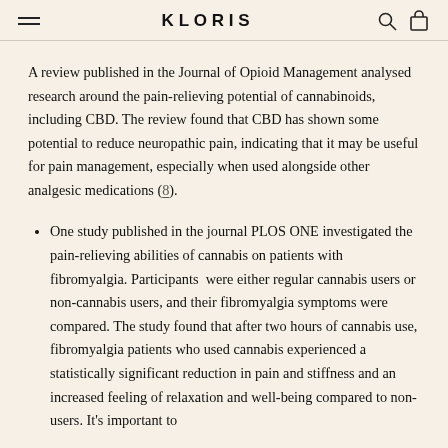KLORIS
A review published in the Journal of Opioid Management analysed research around the pain-relieving potential of cannabinoids, including CBD. The review found that CBD has shown some potential to reduce neuropathic pain, indicating that it may be useful for pain management, especially when used alongside other analgesic medications (8).
One study published in the journal PLOS ONE investigated the pain-relieving abilities of cannabis on patients with fibromyalgia. Participants were either regular cannabis users or non-cannabis users, and their fibromyalgia symptoms were compared. The study found that after two hours of cannabis use, fibromyalgia patients who used cannabis experienced a statistically significant reduction in pain and stiffness and an increased feeling of relaxation and well-being compared to non-users. It's important to